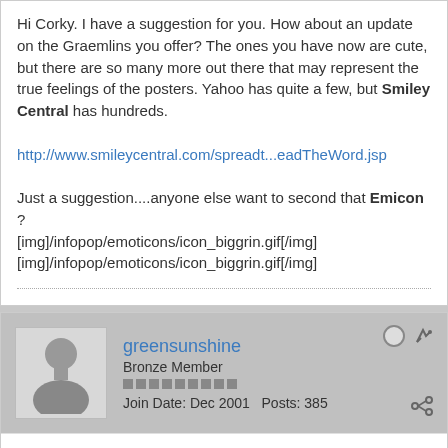Hi Corky. I have a suggestion for you. How about an update on the Graemlins you offer? The ones you have now are cute, but there are so many more out there that may represent the true feelings of the posters. Yahoo has quite a few, but Smiley Central has hundreds.
http://www.smileycentral.com/spreadt...eadTheWord.jsp
Just a suggestion....anyone else want to second that Emicon ? [img]/infopop/emoticons/icon_biggrin.gif[/img] [img]/infopop/emoticons/icon_biggrin.gif[/img]
greensunshine
Bronze Member
Join Date: Dec 2001   Posts: 385
01-05-2004, 06:16 AM
#10
Dear Corky, Bart, Aaron, and the rest of you folks responsible for this great Website [img]/infopop/emoticons/icon_wink.gif[/img]
I would like to second HW's proposal for adding more emoticans (Kisses to all) (K)(K)(K)(K)(K)
Oh, and I really do want to be able to add a flag for when I want to